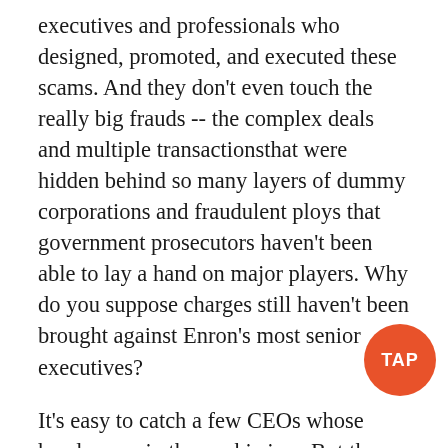executives and professionals who designed, promoted, and executed these scams. And they don't even touch the really big frauds -- the complex deals and multiple transactionsthat were hidden behind so many layers of dummy corporations and fraudulent ploys that government prosecutors haven't been able to lay a hand on major players. Why do you suppose charges still haven't been brought against Enron's most senior executives?
It's easy to catch a few CEOs whose hands were in the cookie jars. But the larger abuses haven't been touched. New laws and regulations have been issued but the reforms are full of holes. Conflicts of interest are still endemic. In a recent survey of professional money managers, more than two-thirds said they were skeptical that the reforms...